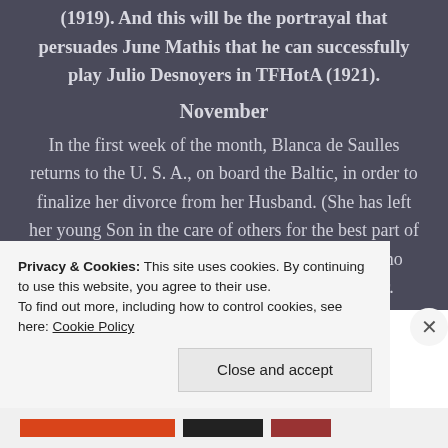(1919). And this will be the portrayal that persuades June Mathis that he can successfully play Julio Desnoyers in TFHotA (1921).
November
In the first week of the month, Blanca de Saulles returns to the U. S. A., on board the Baltic, in order to finalize her divorce from her Husband. (She has left her young Son in the care of others for the best part of three long months.) As far as is known she has no contact with Rodolfo and he has none with her.
Privacy & Cookies: This site uses cookies. By continuing to use this website, you agree to their use. To find out more, including how to control cookies, see here: Cookie Policy
Close and accept